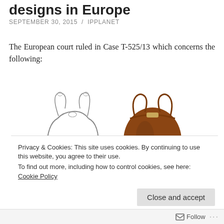designs in Europe
SEPTEMBER 30, 2015  /  IPPLANET
The European court ruled in Case T-525/13 which concerns the following:
[Figure (illustration): Line drawing sketch of a handbag (left) and photo of a brown leather handbag (right)]
[Figure (photo): Photo of a brown leather shoulder bag (left) and a silver/metallic bag (right), partially visible]
Privacy & Cookies: This site uses cookies. By continuing to use this website, you agree to their use.
To find out more, including how to control cookies, see here: Cookie Policy
Close and accept
Follow